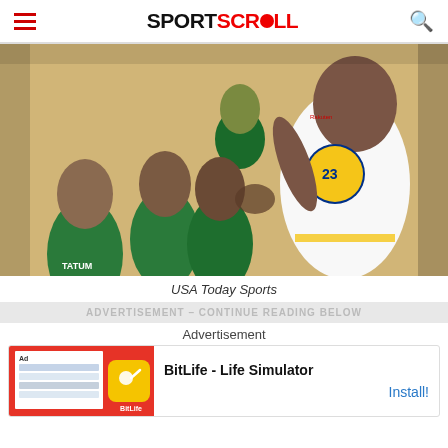SPORTSCROLL
[Figure (photo): NBA altercation photo showing Boston Celtics players (including Jayson Tatum, #0, and Jaylen Brown) and Golden State Warriors player Draymond Green (#23) in a physical confrontation during an NBA Finals game.]
USA Today Sports
ADVERTISEMENT - CONTINUE READING BELOW
Advertisement
[Figure (screenshot): BitLife - Life Simulator advertisement banner with red background on left, BitLife yellow icon, and text 'BitLife - Life Simulator' with 'Install!' button on right.]